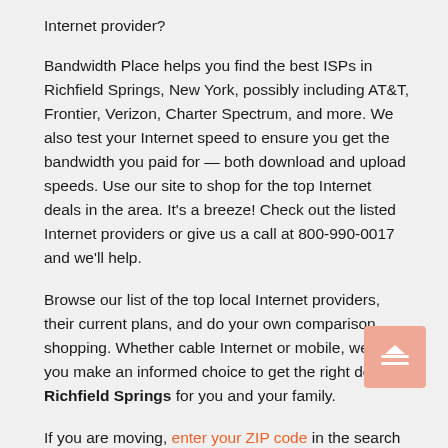Internet provider?
Bandwidth Place helps you find the best ISPs in Richfield Springs, New York, possibly including AT&T, Frontier, Verizon, Charter Spectrum, and more. We also test your Internet speed to ensure you get the bandwidth you paid for — both download and upload speeds. Use our site to shop for the top Internet deals in the area. It's a breeze! Check out the listed Internet providers or give us a call at 800-990-0017 and we'll help.
Browse our list of the top local Internet providers, their current plans, and do your own comparison shopping. Whether cable Internet or mobile, we help you make an informed choice to get the right deal in Richfield Springs for you and your family.
If you are moving, enter your ZIP code in the search box to